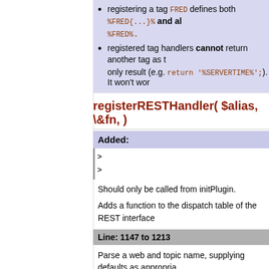registering a tag FRED defines both %FRED{...}% and also %FRED%.
registered tag handlers cannot return another tag as the only result (e.g. return '%SERVERTIME%';). It won't work
registerRESTHandler( $alias, \&fn, )
Added:
> (code line 1)
> (code line 2)
Should only be called from initPlugin.
Adds a function to the dispatch table of the REST interface
Line: 1147 to 1213
Parse a web and topic name, supplying defaults as appropriately
$web - Web name, identifying variable, or empty string
$topic - Topic name, may be a web.topic string, requiring
Changed:
< Return: the parsed Web/Topic pai